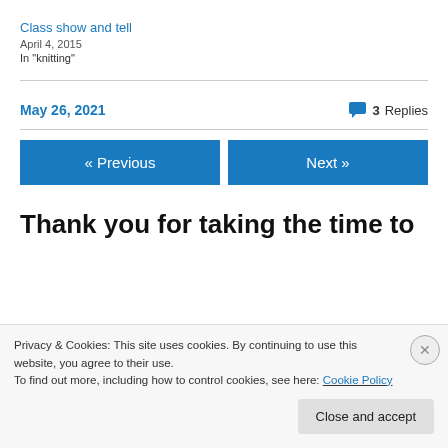Class show and tell
April 4, 2015
In "knitting"
May 26, 2021
3 Replies
« Previous
Next »
Thank you for taking the time to
Privacy & Cookies: This site uses cookies. By continuing to use this website, you agree to their use.
To find out more, including how to control cookies, see here: Cookie Policy
Close and accept